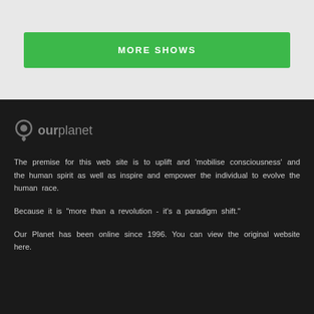MORE SHOWS
[Figure (logo): ourplanet logo with map pin icon in dark gray]
The premise for this web site is to uplift and 'mobilise consciousness' and the human spirit as well as inspire and empower the individual to evolve the human race.
Because it is "more than a revolution - it's a paradigm shift."
Our Planet has been online since 1996. You can view the original website here.